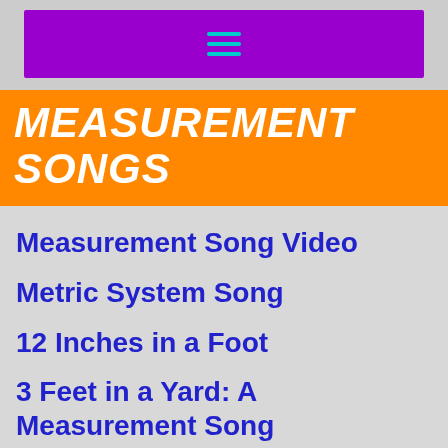≡
MEASUREMENT SONGS
Measurement Song Video
Metric System Song
12 Inches in a Foot
3 Feet in a Yard: A Measurement Song
Measurement Song: 5280 Feet in a Mile
Thermometer Temperature Song